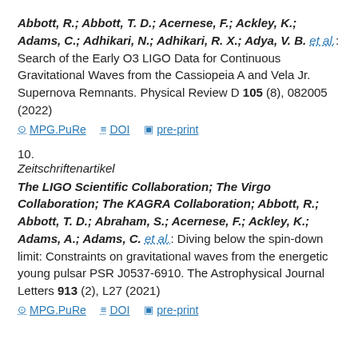Abbott, R.; Abbott, T. D.; Acernese, F.; Ackley, K.; Adams, C.; Adhikari, N.; Adhikari, R. X.; Adya, V. B. et al.: Search of the Early O3 LIGO Data for Continuous Gravitational Waves from the Cassiopeia A and Vela Jr. Supernova Remnants. Physical Review D 105 (8), 082005 (2022)
MPG.PuRe  DOI  pre-print
10.
Zeitschriftenartikel
The LIGO Scientific Collaboration; The Virgo Collaboration; The KAGRA Collaboration; Abbott, R.; Abbott, T. D.; Abraham, S.; Acernese, F.; Ackley, K.; Adams, A.; Adams, C. et al.: Diving below the spin-down limit: Constraints on gravitational waves from the energetic young pulsar PSR J0537-6910. The Astrophysical Journal Letters 913 (2), L27 (2021)
MPG.PuRe  DOI  pre-print